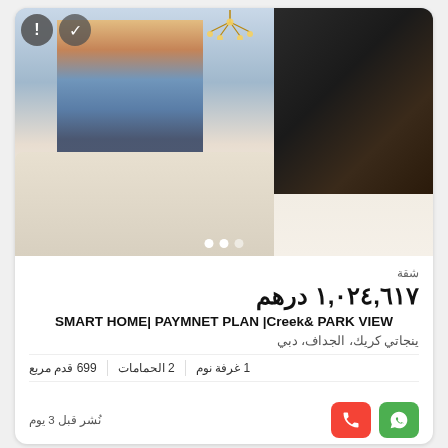[Figure (photo): Interior photo of a luxury apartment living room with floor-to-ceiling windows showing a city skyline at dusk, white sofas, a glass coffee table, and a dark accent wall with geometric gold patterns and a large TV screen.]
شقة
١,٠٢٤,٦١٧ درهم
SMART HOME| PAYMNET PLAN |Creek& PARK VIEW
ينجاتي كريك، الجداف، دبي
1 غرفة نوم | 2 الحمامات | 699 قدم مربع
نُشر قبل 3 يوم